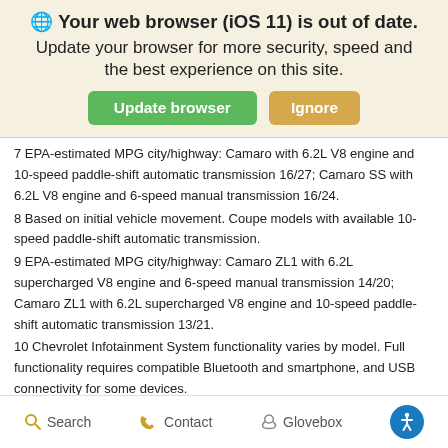🌐 Your web browser (iOS 11) is out of date. Update your browser for more security, speed and the best experience on this site.
[Figure (screenshot): Two buttons: green 'Update browser' and tan/gold 'Ignore']
7 EPA-estimated MPG city/highway: Camaro with 6.2L V8 engine and 10-speed paddle-shift automatic transmission 16/27; Camaro SS with 6.2L V8 engine and 6-speed manual transmission 16/24.
8 Based on initial vehicle movement. Coupe models with available 10-speed paddle-shift automatic transmission.
9 EPA-estimated MPG city/highway: Camaro ZL1 with 6.2L supercharged V8 engine and 6-speed manual transmission 14/20; Camaro ZL1 with 6.2L supercharged V8 engine and 10-speed paddle-shift automatic transmission 13/21.
10 Chevrolet Infotainment System functionality varies by model. Full functionality requires compatible Bluetooth and smartphone, and USB connectivity for some devices.
11 Vehicle user interface is a product of Apple and its terms and privacy statements apply. Requires compatible iPhone and data plan rates apply. Apple
Search   Contact   Glovebox